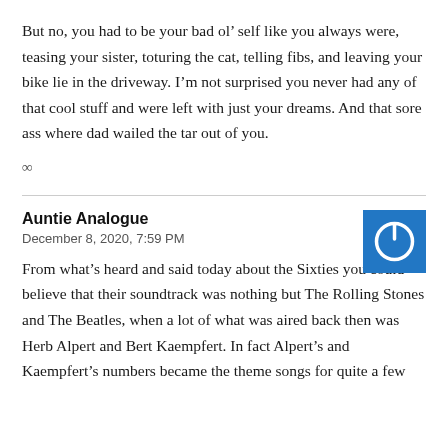But no, you had to be your bad ol’ self like you always were, teasing your sister, toturing the cat, telling fibs, and leaving your bike lie in the driveway. I’m not surprised you never had any of that cool stuff and were left with just your dreams. And that sore ass where dad wailed the tar out of you.
∞
Auntie Analogue
December 8, 2020, 7:59 PM
[Figure (logo): Blue square avatar icon with a white power/on button symbol]
From what’s heard and said today about the Sixties you could believe that their soundtrack was nothing but The Rolling Stones and The Beatles, when a lot of what was aired back then was Herb Alpert and Bert Kaempfert. In fact Alpert’s and Kaempfert’s numbers became the theme songs for quite a few